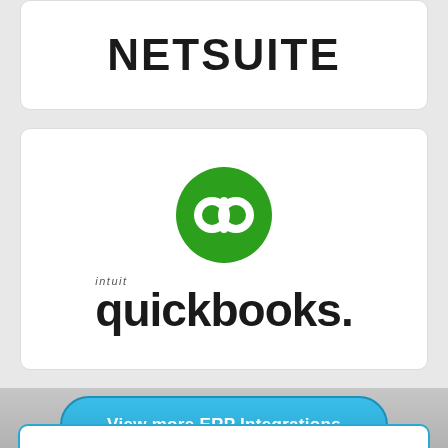[Figure (logo): NetSuite logo - bold uppercase text NETSUITE in black, shown partially (bottom of card)]
[Figure (logo): Intuit QuickBooks logo - green circle with 'qb' icon above, 'intuit quickbooks.' wordmark below]
View more ERP Integrations
[Figure (photo): Bottom section showing a grey/muted background photo, partially visible, with a blue-bordered card stub at the very bottom]